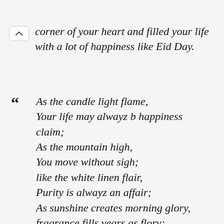corner of your heart and filled your life with a lot of happiness like Eid Day.
As the candle light flame, Your life may alwayz b happiness claim; As the mountain high, You move without sigh; like the white linen flair, Purity is alwayz an affair; As sunshine creates morning glory, fragrance fills years as flory;